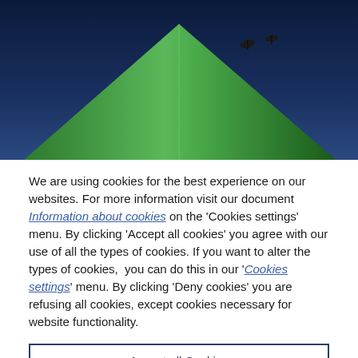[Figure (photo): A green triangular building roof or structure against a dark blue night sky, with small dark objects (birds or antennae) near the peak.]
We are using cookies for the best experience on our websites. For more information visit our document Information about cookies on the 'Cookies settings' menu. By clicking 'Accept all cookies' you agree with our use of all the types of cookies. If you want to alter the types of cookies, you can do this in our 'Cookies settings' menu. By clicking 'Deny cookies' you are refusing all cookies, except cookies necessary for website functionality.
Accept all Cookies
Cookies Settings
Deny Cookies